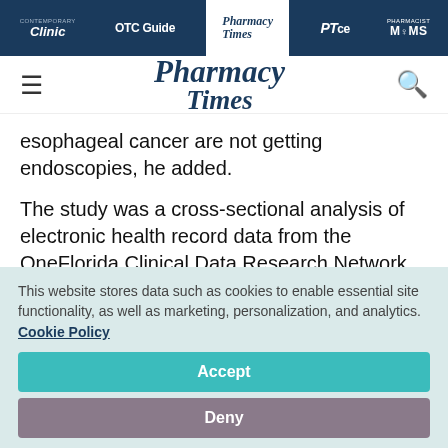Clinic | OTC Guide | Pharmacy Times | PTce | Pharmacist MOMS
[Figure (logo): Pharmacy Times logo with hamburger menu and search icon]
esophageal cancer are not getting endoscopies, he added.
The study was a cross-sectional analysis of electronic health record data from the OneFlorida Clinical Data Research Network
This website stores data such as cookies to enable essential site functionality, as well as marketing, personalization, and analytics. Cookie Policy
Accept
Deny